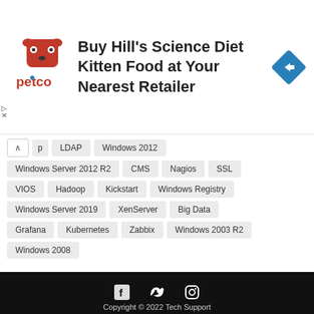[Figure (illustration): Petco advertisement banner showing the Petco dog logo and text 'Buy Hill's Science Diet Kitten Food at Your Nearest Retailer' with a blue navigation arrow icon on the right. Close button (X) visible on left.]
LDAP
Windows 2012
Windows Server 2012 R2
CMS
Nagios
SSL
VIOS
Hadoop
Kickstart
Windows Registry
Windows Server 2019
XenServer
Big Data
Grafana
Kubernetes
Zabbix
Windows 2003 R2
Windows 2008
Copyright © 2022 Tech Support